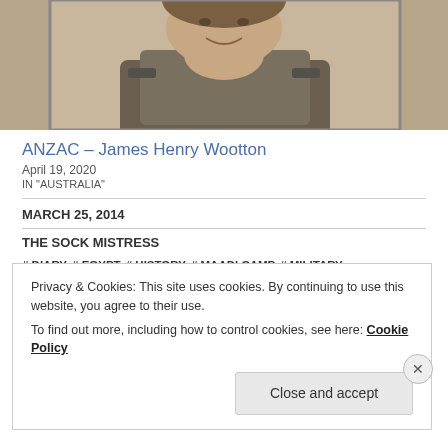[Figure (photo): Sepia-toned photograph of a man in military uniform, smiling, cropped to show upper body and face]
ANZAC – James Henry Wootton
April 19, 2020
IN "AUSTRALIA"
MARCH 25, 2014
THE SOCK MISTRESS
# DIARY, # EGYPT, # HISTORY, # MAADI CAMP, # MILITARY, # MUSINGS, # NEW ZEALAND, # NORTH AFRICA, # SAND, # WAR, # WORLD WAR 2, # WORLD WAR II
Privacy & Cookies: This site uses cookies. By continuing to use this website, you agree to their use.
To find out more, including how to control cookies, see here: Cookie Policy
Close and accept